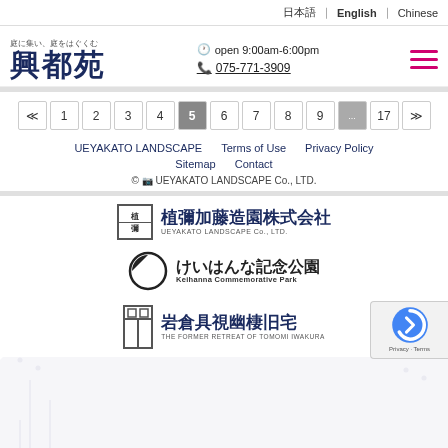日本語 ｜ English ｜ Chinese
Thank you.
[Figure (logo): Ueyakato Landscape logo with kanji characters 興都苑, tagline 庭に集い、庭をはぐくむ, clock icon open 9:00am-6:00pm, phone 075-771-3909, hamburger menu icon with pink lines]
≪ 1 2 3 4 5 6 7 8 9 ... 17 ≫
UEYAKATO LANDSCAPE   Terms of Use   Privacy Policy
Sitemap   Contact
© 2024 UEYAKATO LANDSCAPE Co., LTD.
[Figure (logo): 植彌加藤造園株式会社 UEYAKATO LANDSCAPE Co., LTD. logo with square bordered kanji box]
[Figure (logo): けいはんな記念公園 Keihanna Commemorative Park logo with circle symbol]
[Figure (logo): 岩倉具視幽棲旧宅 THE FORMER RETREAT OF TOMOMI IWAKURA logo with gate icon]